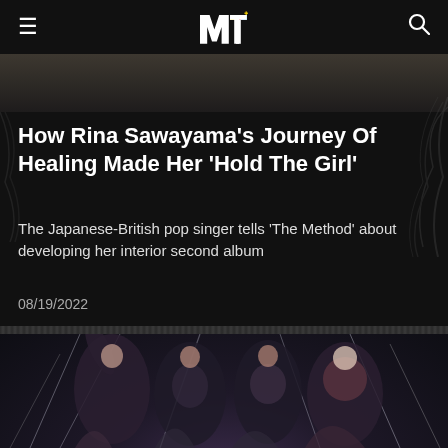MTV
[Figure (photo): Partial top image showing dark decorative background]
How Rina Sawayama's Journey Of Healing Made Her 'Hold The Girl'
The Japanese-British pop singer tells 'The Method' about developing her interior second album
08/19/2022
[Figure (photo): Four female performers posing in elegant outfits against a dark background with sparkle effects]